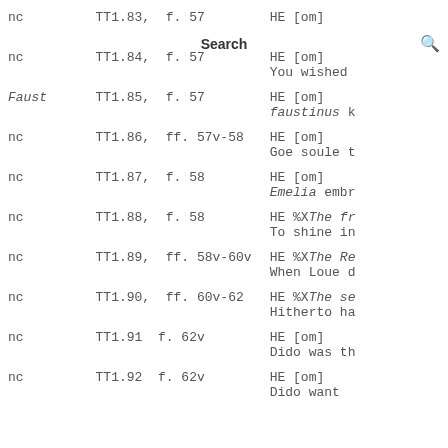|  | Reference | Notes |
| --- | --- | --- |
| nc | TT1.83,  f. 57 | HE [om] |
|  |  |  |
| nc | TT1.84,  f. 57 | HE [om] |
|  |  | You wished |
| Faust | TT1.85,  f. 57 | HE [om] |
|  |  | faustinus k |
| nc | TT1.86,  ff. 57v-58 | HE [om] |
|  |  | Goe soule t |
| nc | TT1.87,  f. 58 | HE [om] |
|  |  | Emelia embr |
| nc | TT1.88,  f. 58 | HE %XThe fr |
|  |  | To shine in |
| nc | TT1.89,  ff. 58v-60v | HE %XThe Re |
|  |  | When Loue d |
| nc | TT1.90,  ff. 60v-62 | HE %XThe se |
|  |  | Hitherto ha |
| nc | TT1.91  f. 62v | HE [om] |
|  |  | Dido was th |
| nc | TT1.92  f. 62v | HE [om] |
|  |  | Dido want |